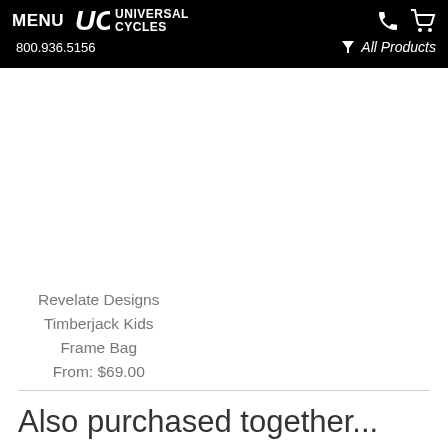MENU | UC UNIVERSAL CYCLES | 800.936.5156 | All Products
Revelate Designs Timberjack Kids Frame Bag
From: $69.00
Also purchased together...